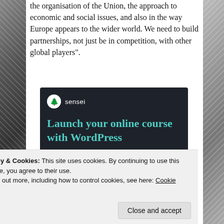the organisation of the Union, the approach to economic and social issues, and also in the way Europe appears to the wider world. We need to build partnerships, not just be in competition, with other global players".
[Figure (advertisement): Sensei advertisement: dark background with teal logo circle, brand name 'sensei', headline 'Launch your online course with WordPress', and a teal 'Learn More' button.]
Privacy & Cookies: This site uses cookies. By continuing to use this website, you agree to their use.
To find out more, including how to control cookies, see here: Cookie Policy
Close and accept